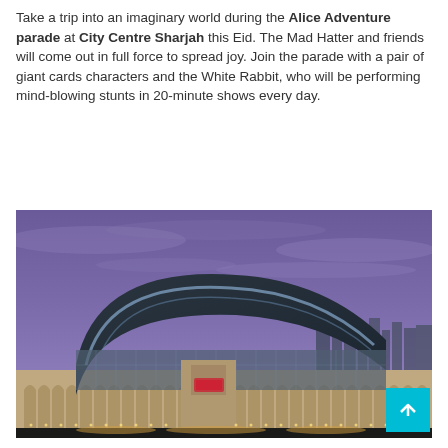Take a trip into an imaginary world during the Alice Adventure parade at City Centre Sharjah this Eid. The Mad Hatter and friends will come out in full force to spread joy. Join the parade with a pair of giant cards characters and the White Rabbit, who will be performing mind-blowing stunts in 20-minute shows every day.
[Figure (photo): Night/dusk exterior photograph of City Centre Sharjah mall building with distinctive curved roof architecture, illuminated facade with arched colonnades, and city skyline in background under a purple-blue sky.]